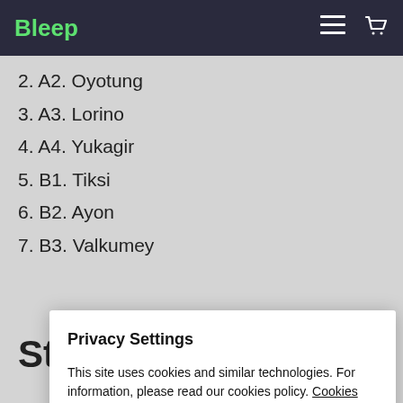Bleep
2. A2. Oyotung
3. A3. Lorino
4. A4. Yukagir
5. B1. Tiksi
6. B2. Ayon
7. B3. Valkumey
Stefan Goldmann
Privacy Settings
This site uses cookies and similar technologies. For information, please read our cookies policy. Cookies Policy
Allow All
Manage Consent Preferences